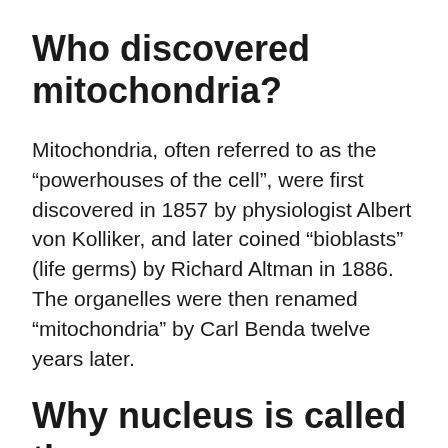Who discovered mitochondria?
Mitochondria, often referred to as the “powerhouses of the cell”, were first discovered in 1857 by physiologist Albert von Kolliker, and later coined “bioblasts” (life germs) by Richard Altman in 1886. The organelles were then renamed “mitochondria” by Carl Benda twelve years later.
Why nucleus is called the brain of the cell?
The nucleus directs and regulates the cell’s